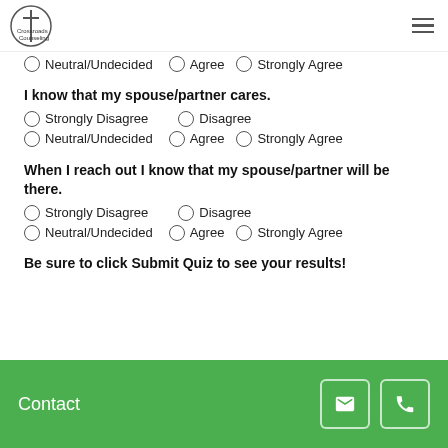Crossroads Counseling
Neutral/Undecided   Agree   Strongly Agree
I know that my spouse/partner cares.
Strongly Disagree   Disagree
Neutral/Undecided   Agree   Strongly Agree
When I reach out I know that my spouse/partner will be there.
Strongly Disagree   Disagree
Neutral/Undecided   Agree   Strongly Agree
Be sure to click Submit Quiz to see your results!
Contact